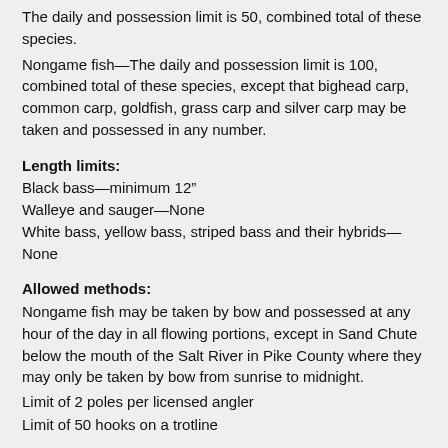The daily and possession limit is 50, combined total of these species.
Nongame fish—The daily and possession limit is 100, combined total of these species, except that bighead carp, common carp, goldfish, grass carp and silver carp may be taken and possessed in any number.
Length limits:
Black bass—minimum 12"
Walleye and sauger—None
White bass, yellow bass, striped bass and their hybrids—None
Allowed methods:
Nongame fish may be taken by bow and possessed at any hour of the day in all flowing portions, except in Sand Chute below the mouth of the Salt River in Pike County where they may only be taken by bow from sunrise to midnight.
Limit of 2 poles per licensed angler
Limit of 50 hooks on a trotline
Temporary overflow waters east of the mainline